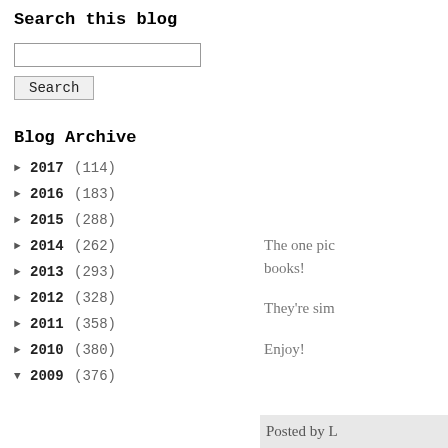Search this blog
Blog Archive
► 2017 (114)
► 2016 (183)
► 2015 (288)
► 2014 (262)
► 2013 (293)
► 2012 (328)
► 2011 (358)
► 2010 (380)
▼ 2009 (376)
The one pic books!
They're sim
Enjoy!
Posted by L